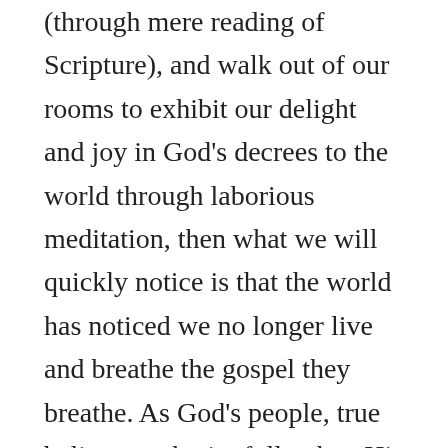(through mere reading of Scripture), and walk out of our rooms to exhibit our delight and joy in God's decrees to the world through laborious meditation, then what we will quickly notice is that the world has noticed we no longer live and breathe the gospel they breathe. As God's people, true believers who joyfully obey His instruction, we are called to be set apart from the rest of the world (1 Pet 1:14-16), demonstrated by living godly lives through the means of His Word. Naturally then, we shouldn't be surprised when we encounter hostile opponents of the gospel, who may urge us to indulge in their sin and